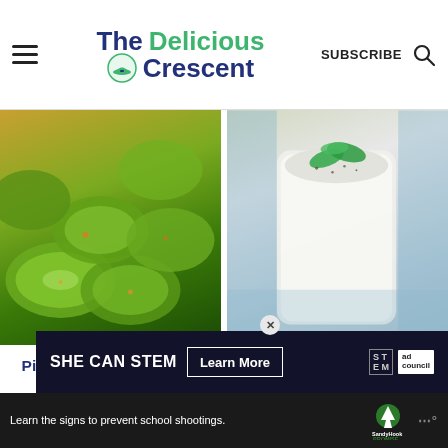The Delicious Crescent — SUBSCRIBE
[Figure (photo): Close-up of pickled cucumber slices with sesame seeds and herbs on a plate]
[Figure (photo): Glass of Doogh Persian Yogurt Drink topped with dried mint and fresh mint leaves]
Pickled Cucumber Salad (Asian Style)
Doogh Persian Yogurt Drink
[Figure (infographic): SHE CAN STEM advertisement banner with Learn More button, STEM logo, and Ad Council logo]
[Figure (infographic): Sandy Hook Promise advertisement: Learn the signs to prevent school shootings]